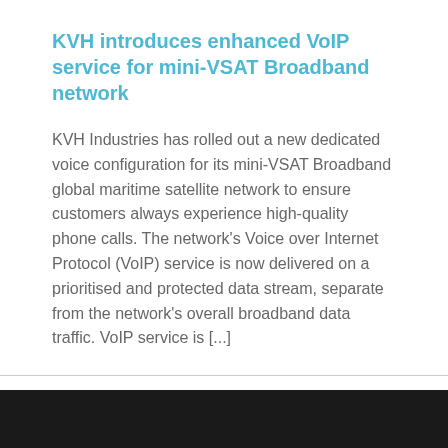KVH introduces enhanced VoIP service for mini-VSAT Broadband network
KVH Industries has rolled out a new dedicated voice configuration for its mini-VSAT Broadband global maritime satellite network to ensure customers always experience high-quality phone calls. The network’s Voice over Internet Protocol (VoIP) service is now delivered on a prioritised and protected data stream, separate from the network’s overall broadband data traffic. VoIP service is [...]